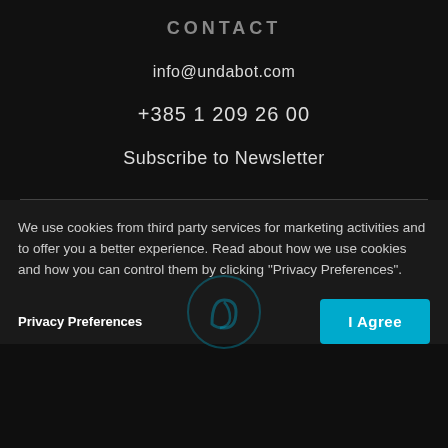CONTACT
info@undabot.com
+385 1 209 26 00
Subscribe to Newsletter
We use cookies from third party services for marketing activities and to offer you a better experience. Read about how we use cookies and how you can control them by clicking "Privacy Preferences".
Privacy Preferences
I Agree